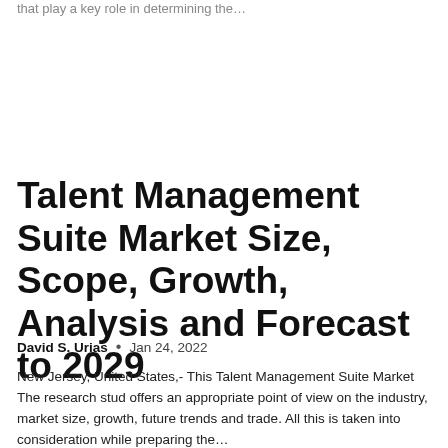that play a key role in determining the…
Talent Management Suite Market Size, Scope, Growth, Analysis and Forecast to 2029
David S. Urias  •  Jan 24, 2022
New Jersey, United States,- This Talent Management Suite Market The research stud offers an appropriate point of view on the industry, market size, growth, future trends and trade. All this is taken into consideration while preparing the…